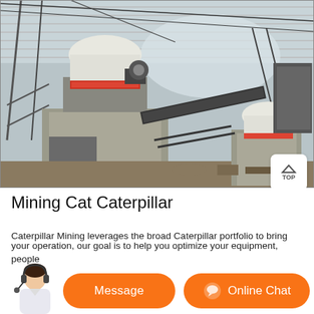[Figure (photo): Industrial mining facility interior showing large cone crusher machines mounted on concrete plinths, conveyor belts, steel framework structure, and a translucent roof canopy.]
Mining Cat Caterpillar
Caterpillar Mining leverages the broad Caterpillar portfolio to bring
[Figure (photo): Customer service representative avatar (woman with headset)]
Message
Online Chat
your operation, our goal is to help you optimize your equipment, people